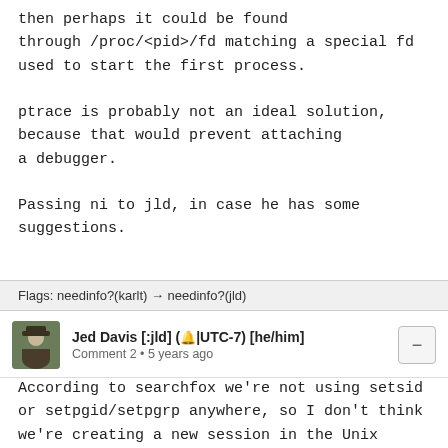then perhaps it could be found through /proc/<pid>/fd matching a special fd used to start the first process.
ptrace is probably not an ideal solution, because that would prevent attaching a debugger.
Passing ni to jld, in case he has some suggestions.
Flags: needinfo?(karlt) → needinfo?(jld)
Jed Davis [:jld] (🔔|UTC-7) [he/him]
Comment 2 • 5 years ago
According to searchfox we're not using setsid or setpgid/setpgrp anywhere, so I don't think we're creating a new session in the Unix sense when restarting.  However, adb does do this when daemonizing, which is what adbid is for: